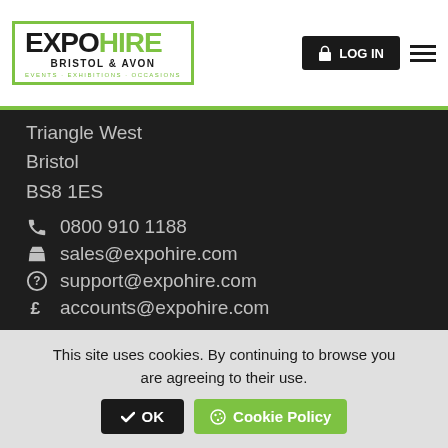[Figure (logo): Expo Hire Bristol & Avon logo with green bracket borders and tagline Events - Exhibitions - Occasions]
LOG IN  ☰
Triangle West
Bristol
BS8 1ES
0800 910 1188
sales@expohire.com
support@expohire.com
accounts@expohire.com
Important Information
Terms & Conditions of Hire
Privacy Policy
This site uses cookies. By continuing to browse you are agreeing to their use. OK  Cookie Policy